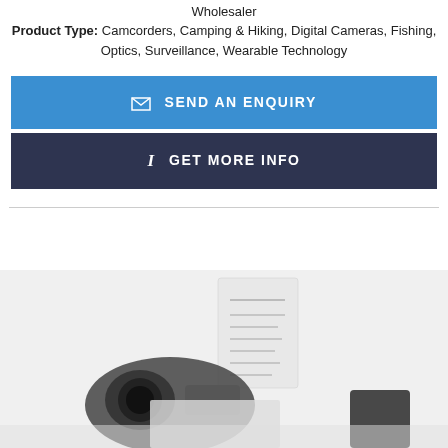Wholesaler
Product Type: Camcorders, Camping & Hiking, Digital Cameras, Fishing, Optics, Surveillance, Wearable Technology
SEND AN ENQUIRY
GET MORE INFO
[Figure (photo): Product photo showing camcorders and electronic devices on white background]